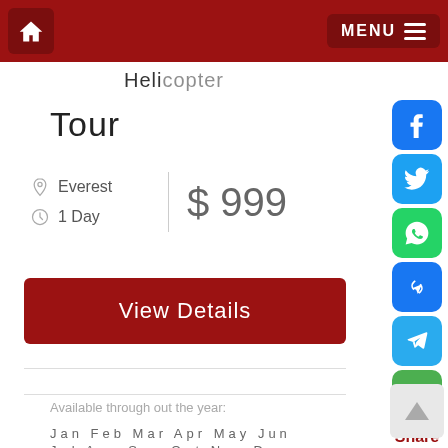MENU
Tour
Everest  |  $ 999
1 Day
View Details
Available through out the year:
Jan Feb Mar Apr May Jun
Jul Aug Sep Oct Nov Dec